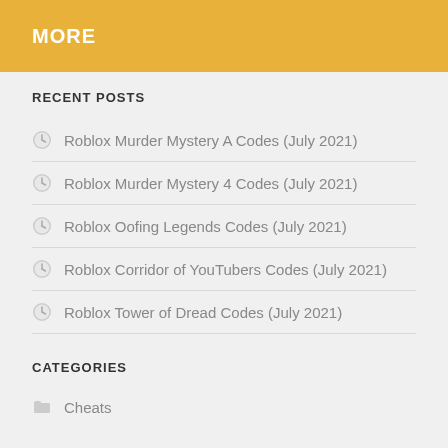MORE
RECENT POSTS
Roblox Murder Mystery A Codes (July 2021)
Roblox Murder Mystery 4 Codes (July 2021)
Roblox Oofing Legends Codes (July 2021)
Roblox Corridor of YouTubers Codes (July 2021)
Roblox Tower of Dread Codes (July 2021)
CATEGORIES
Cheats